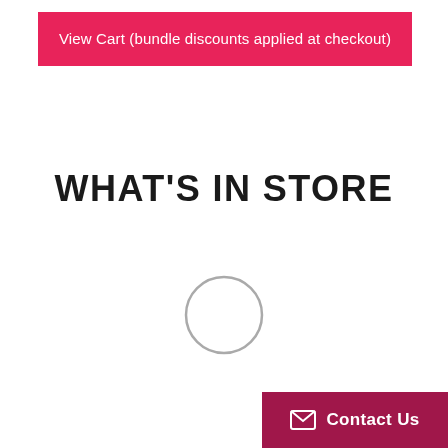View Cart (bundle discounts applied at checkout)
WHAT'S IN STORE
[Figure (other): Loading spinner circle outline, grey stroke, no fill]
Contact Us